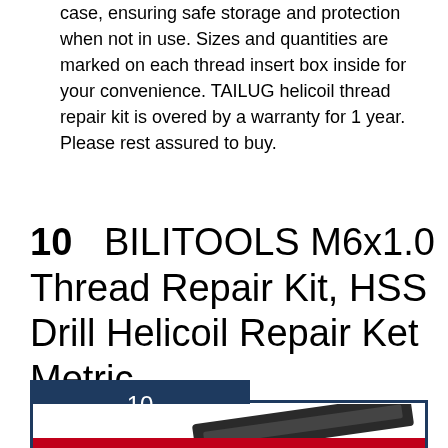case, ensuring safe storage and protection when not in use. Sizes and quantities are marked on each thread insert box inside for your convenience. TAILUG helicoil thread repair kit is overed by a warranty for 1 year. Please rest assured to buy.
10   BILITOOLS M6x1.0 Thread Repair Kit, HSS Drill Helicoil Repair Ket Metric
[Figure (other): Product listing card with dark navy numbered badge showing '10' and a bordered box containing a product image of a thread repair kit tool on a white background with a red bottom bar.]